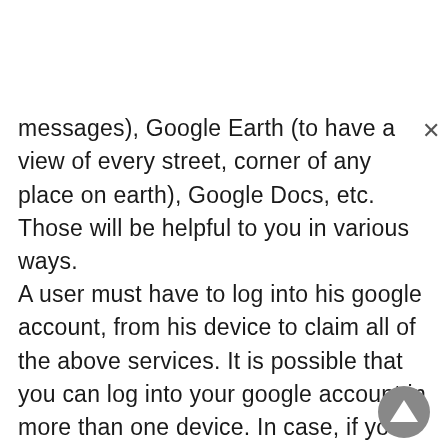messages), Google Earth (to have a view of every street, corner of any place on earth), Google Docs, etc. Those will be helpful to you in various ways.
A user must have to log into his google account, from his device to claim all of the above services. It is possible that you can log into your google account in more than one device. In case, if you want to delete your old device from google account, there is a specific procedure you need to follow. Let's